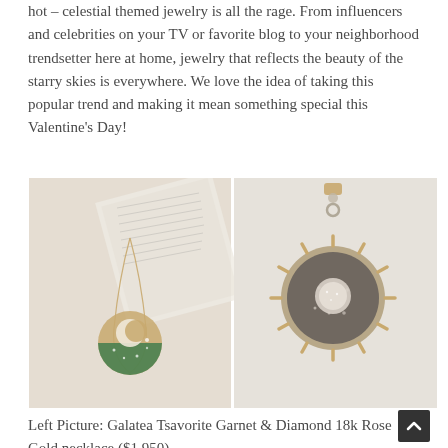hot – celestial themed jewelry is all the rage. From influencers and celebrities on your TV or favorite blog to your neighborhood trendsetter here at home, jewelry that reflects the beauty of the starry skies is everywhere. We love the idea of taking this popular trend and making it mean something special this Valentine's Day!
[Figure (photo): Two side-by-side jewelry photos: left shows a gold chain necklace with a circular disc pendant featuring green tsavorite garnets and a diamond crescent moon motif, resting on an open book page; right shows a close-up of a sun/moon pendant charm on a bracelet with gold sun rays and pavé diamond center, on a cream fabric background.]
Left Picture: Galatea Tsavorite Garnet & Diamond 18k Rose Gold necklace ($1,950)